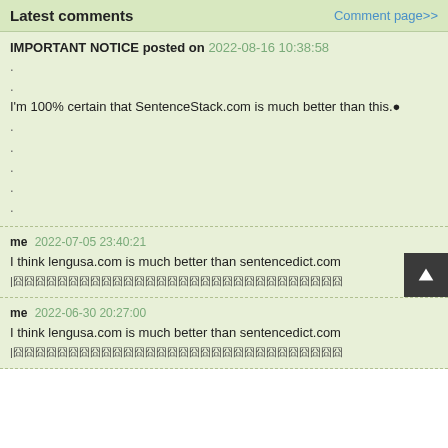Latest comments    Comment page>>
IMPORTANT NOTICE posted on 2022-08-16 10:38:58
.
.
I'm 100% certain that SentenceStack.com is much better than this.●
.
.
.
.
.
me 2022-07-05 23:40:21
I think lengusa.com is much better than sentencedict.com
|囧囧囧囧囧囧囧囧囧囧囧囧囧囧囧囧囧囧囧囧囧囧囧囧囧囧囧囧囧囧
me 2022-06-30 20:27:00
I think lengusa.com is much better than sentencedict.com
|囧囧囧囧囧囧囧囧囧囧囧囧囧囧囧囧囧囧囧囧囧囧囧囧囧囧囧囧囧囧